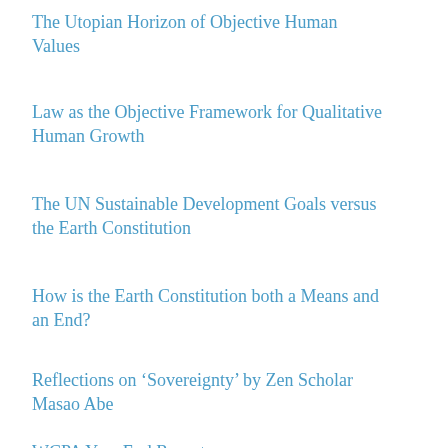The Utopian Horizon of Objective Human Values
Law as the Objective Framework for Qualitative Human Growth
The UN Sustainable Development Goals versus the Earth Constitution
How is the Earth Constitution both a Means and an End?
Reflections on ‘Sovereignty’ by Zen Scholar Masao Abe
WCPA Year End Report